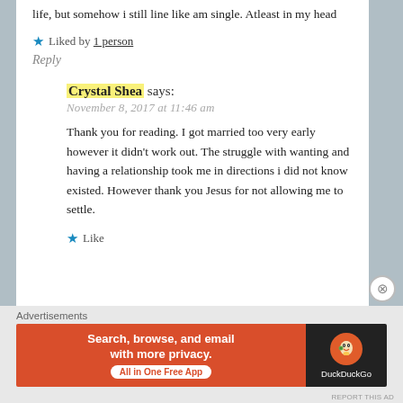life, but somehow i still line like am single. Atleast in my head
★ Liked by 1 person
Reply
Crystal Shea says:
November 8, 2017 at 11:46 am
Thank you for reading. I got married too very early however it didn't work out. The struggle with wanting and having a relationship took me in directions i did not know existed. However thank you Jesus for not allowing me to settle.
★ Like
Advertisements
[Figure (other): DuckDuckGo advertisement banner: 'Search, browse, and email with more privacy. All in One Free App' with DuckDuckGo logo on dark background]